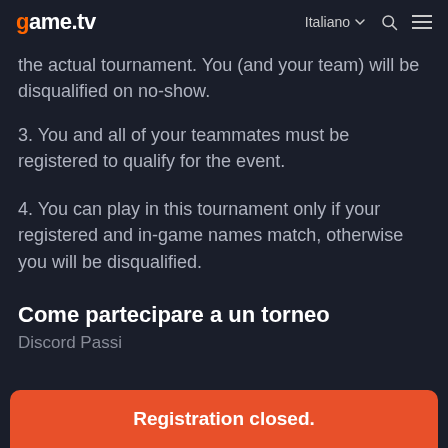game.tv   Italiano   🔍   ☰
the actual tournament. You (and your team) will be disqualified on no-show.
3. You and all of your teammates must be registered to qualify for the event.
4. You can play in this tournament only if your registered and in-game names match, otherwise you will be disqualified.
Come partecipare a un torneo
Discord Passi
Registration closed.